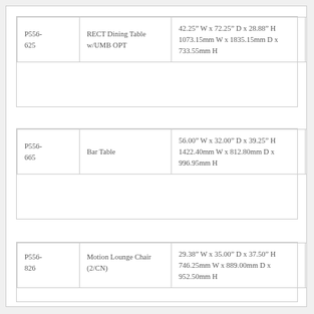| SKU | Name | Dimensions | Price |
| --- | --- | --- | --- |
| P556-625 | RECT Dining Table w/UMB OPT | 42.25" W x 72.25" D x 28.88" H
1073.15mm W x 1835.15mm D x 733.55mm H | 121/5 |
| SKU | Name | Dimensions | Price |
| --- | --- | --- | --- |
| P556-665 | Bar Table | 56.00" W x 32.00" D x 39.25" H
1422.40mm W x 812.80mm D x 996.95mm H | 146/6 |
| SKU | Name | Dimensions | Price |
| --- | --- | --- | --- |
| P556-826 | Motion Lounge Chair (2/CN) | 29.38" W x 35.00" D x 37.50" H
746.25mm W x 889.00mm D x 952.50mm H | 82/35 |